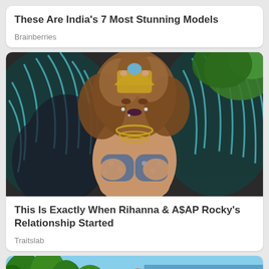These Are India's 7 Most Stunning Models
Brainberries
[Figure (photo): Woman in elaborate feathered costume with jeweled crown and wings, carnival or festival attire]
This Is Exactly When Rihanna & A$AP Rocky's Relationship Started
Traitslab
[Figure (illustration): Illustrated couple holding hands walking through a scenic landscape with trees and a beach in the background]